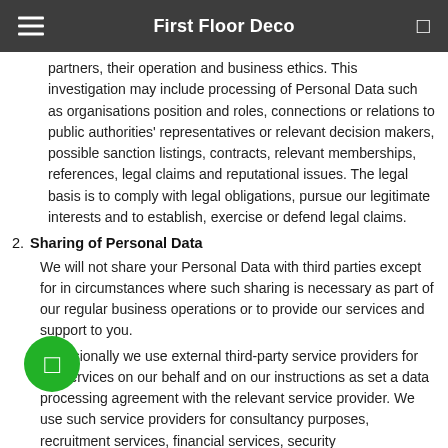First Floor Deco
partners, their operation and business ethics. This investigation may include processing of Personal Data such as organisations position and roles, connections or relations to public authorities' representatives or relevant decision makers, possible sanction listings, contracts, relevant memberships, references, legal claims and reputational issues. The legal basis is to comply with legal obligations, pursue our legitimate interests and to establish, exercise or defend legal claims.
2. Sharing of Personal Data
We will not share your Personal Data with third parties except for in circumstances where such sharing is necessary as part of our regular business operations or to provide our services and support to you.
Occasionally we use external third-party service providers for [providing] services on our behalf and on our instructions as set [out in] a data processing agreement with the relevant service provider. We use such service providers for consultancy purposes, recruitment services, financial services, security...